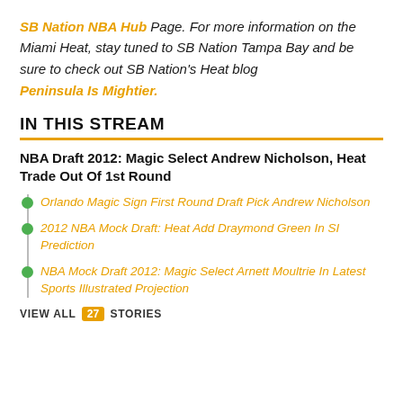SB Nation NBA Hub Page. For more information on the Miami Heat, stay tuned to SB Nation Tampa Bay and be sure to check out SB Nation's Heat blog Peninsula Is Mightier.
IN THIS STREAM
NBA Draft 2012: Magic Select Andrew Nicholson, Heat Trade Out Of 1st Round
Orlando Magic Sign First Round Draft Pick Andrew Nicholson
2012 NBA Mock Draft: Heat Add Draymond Green In SI Prediction
NBA Mock Draft 2012: Magic Select Arnett Moultrie In Latest Sports Illustrated Projection
VIEW ALL 27 STORIES